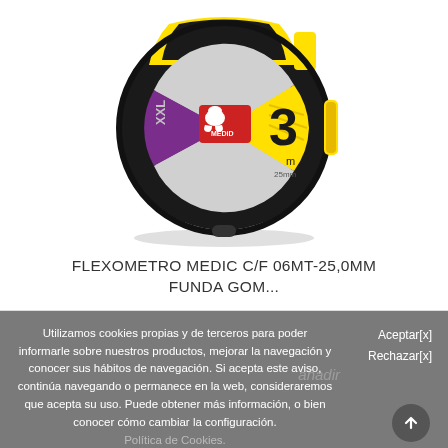[Figure (photo): A MEDID brand tape measure (flexometer), model XXL, 3 meters, 25mm width, with yellow and black rubber casing. The circular face shows the MEDID logo with a mammoth icon and the number 3m, 25mm label.]
FLEXOMETRO MEDIC C/F 06MT-25,0MM FUNDA GOM...
Utilizamos cookies propias y de terceros para poder informarle sobre nuestros productos, mejorar la navegación y conocer sus hábitos de navegación. Si acepta este aviso, continúa navegando o permanece en la web, consideraremos que acepta su uso. Puede obtener más información, o bien conocer cómo cambiar la configuración.
Política de Cookies.
Aceptar[x]
Rechazar[x]